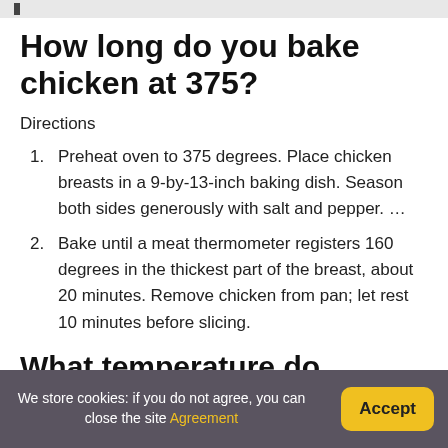How long do you bake chicken at 375?
Directions
Preheat oven to 375 degrees. Place chicken breasts in a 9-by-13-inch baking dish. Season both sides generously with salt and pepper. …
Bake until a meat thermometer registers 160 degrees in the thickest part of the breast, about 20 minutes. Remove chicken from pan; let rest 10 minutes before slicing.
What temperature do chicken thighs need to be cooked to?
We store cookies: if you do not agree, you can close the site Agreement